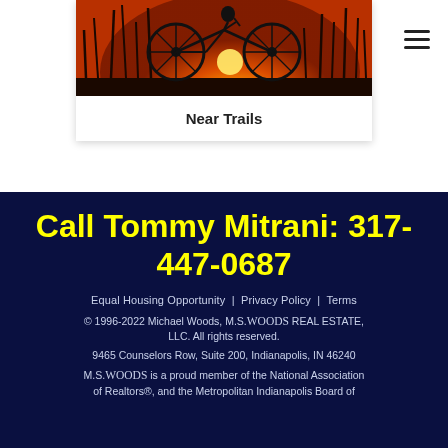[Figure (photo): Sunset silhouette photo of a bicycle with tall grass/reeds against an orange sky with a visible sun, cropped at top]
Near Trails
Call Tommy Mitrani: 317-447-0687
Equal Housing Opportunity  |  Privacy Policy  |  Terms
© 1996-2022 Michael Woods, M.S.Woods Real Estate, LLC. All rights reserved.
9465 Counselors Row, Suite 200, Indianapolis, IN 46240
M.S.Woods is a proud member of the National Association of Realtors®, and the Metropolitan Indianapolis Board of